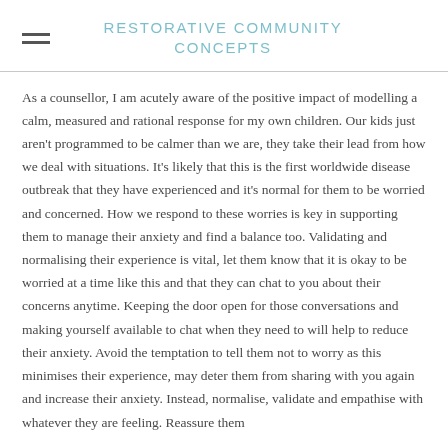RESTORATIVE COMMUNITY CONCEPTS
As a counsellor, I am acutely aware of the positive impact of modelling a calm, measured and rational response for my own children. Our kids just aren't programmed to be calmer than we are, they take their lead from how we deal with situations. It's likely that this is the first worldwide disease outbreak that they have experienced and it's normal for them to be worried and concerned. How we respond to these worries is key in supporting them to manage their anxiety and find a balance too. Validating and normalising their experience is vital, let them know that it is okay to be worried at a time like this and that they can chat to you about their concerns anytime. Keeping the door open for those conversations and making yourself available to chat when they need to will help to reduce their anxiety. Avoid the temptation to tell them not to worry as this minimises their experience, may deter them from sharing with you again and increase their anxiety. Instead, normalise, validate and empathise with whatever they are feeling. Reassure them